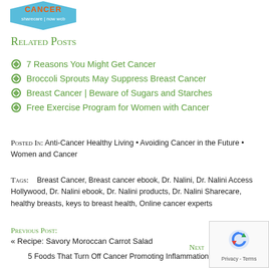[Figure (logo): Sharecare Now WCB cancer logo badge — blue and orange badge shape with 'sharecare | now wcb' text]
Related Posts
7 Reasons You Might Get Cancer
Broccoli Sprouts May Suppress Breast Cancer
Breast Cancer | Beware of Sugars and Starches
Free Exercise Program for Women with Cancer
Posted In: Anti-Cancer Healthy Living • Avoiding Cancer in the Future • Women and Cancer
Tags:    Breast Cancer, Breast cancer ebook, Dr. Nalini, Dr. Nalini Access Hollywood, Dr. Nalini ebook, Dr. Nalini products, Dr. Nalini Sharecare, healthy breasts, keys to breast health, Online cancer experts
Previous Post:
« Recipe: Savory Moroccan Carrot Salad
5 Foods That Turn Off Cancer Promoting Inflammation »